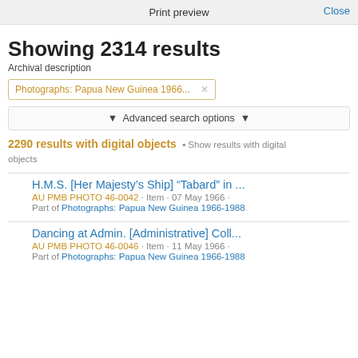Print preview   Close
Showing 2314 results
Archival description
Photographs: Papua New Guinea 1966...
Advanced search options
2290 results with digital objects   Show results with digital objects
H.M.S. [Her Majesty's Ship] "Tabard" in ...
AU PMB PHOTO 46-0042 · Item · 07 May 1966 ·
Part of Photographs: Papua New Guinea 1966-1988
Dancing at Admin. [Administrative] Coll...
AU PMB PHOTO 46-0046 · Item · 11 May 1966 ·
Part of Photographs: Papua New Guinea 1966-1988